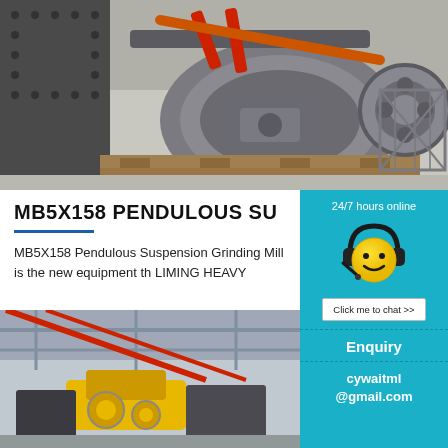[Figure (photo): Industrial gray grinding mill machine on wooden pallets in a warehouse, with red accents and metal framework visible]
MB5X158 PENDULOUS SU
MB5X158 Pendulous Suspension Grinding Mill is the new equipment th LIMING HEAVY
[Figure (photo): Yellow smiley face emoji wearing black headset/headphones on a teal/cyan background, representing 24/7 online customer support chat widget with 'Click me to chat >>' button]
24/7 hours online
Click me to chat >>
Enquiry
cywaitml @gmail.com
[Figure (photo): Industrial machinery or grinding equipment photographed from below, showing red and yellow components against a building interior background]